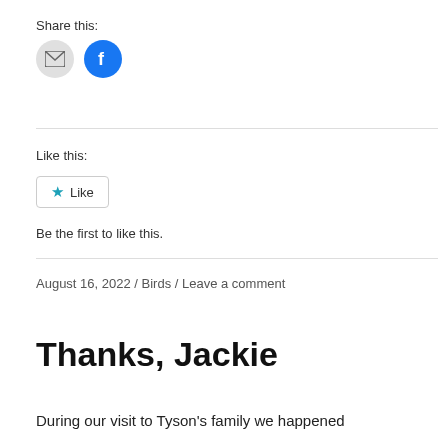Share this:
[Figure (infographic): Two share buttons: a grey circle with envelope icon (email) and a blue circle with Facebook 'f' icon]
Like this:
[Figure (infographic): A WordPress-style Like button with a blue star icon and the word 'Like']
Be the first to like this.
August 16, 2022 / Birds / Leave a comment
Thanks, Jackie
During our visit to Tyson's family we happened